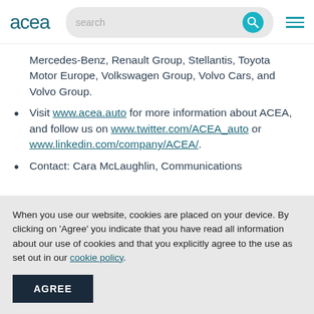acea | search
Mercedes-Benz, Renault Group, Stellantis, Toyota Motor Europe, Volkswagen Group, Volvo Cars, and Volvo Group.
Visit www.acea.auto for more information about ACEA, and follow us on www.twitter.com/ACEA_auto or www.linkedin.com/company/ACEA/.
Contact: Cara McLaughlin, Communications
When you use our website, cookies are placed on your device. By clicking on 'Agree' you indicate that you have read all information about our use of cookies and that you explicitly agree to the use as set out in our cookie policy.